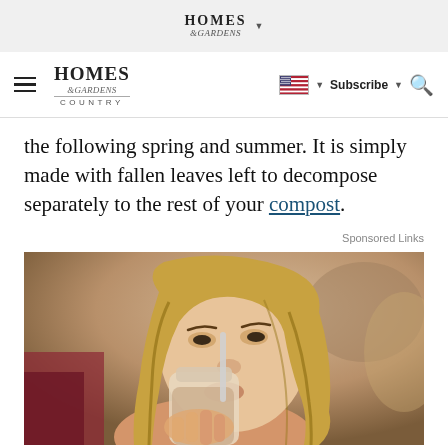HOMES &GARDENS
HOMES &GARDENS COUNTRY | Subscribe | Search
the following spring and summer. It is simply made with fallen leaves left to decompose separately to the rest of your compost.
Sponsored Links
[Figure (photo): A woman drinking from a jar/bottle with a straw, outdoors in a casual setting]